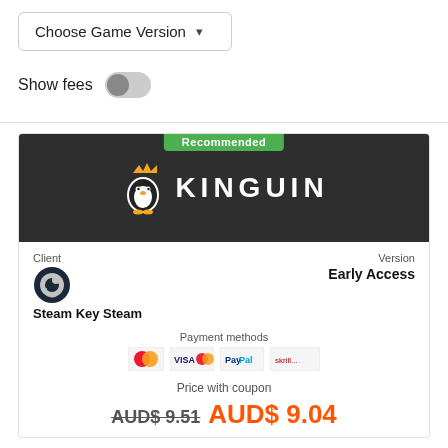Choose Game Version ▾
Show fees
[Figure (screenshot): Kinguin logo on dark background with 'Recommended' green badge]
Client
Steam Key Steam
Version
Early Access
Payment methods
Price with coupon
AUD$ 9.51  AUD$ 9.04
-5% KFG5